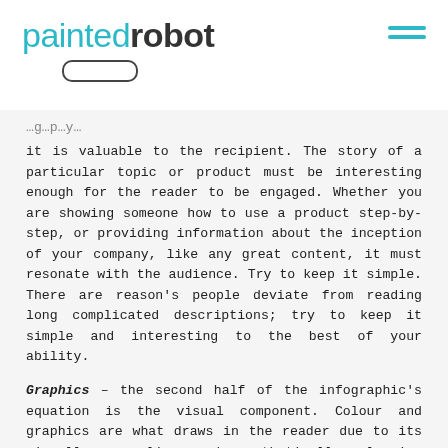paintedrobot
it is valuable to the recipient. The story of a particular topic or product must be interesting enough for the reader to be engaged. Whether you are showing someone how to use a product step-by-step, or providing information about the inception of your company, like any great content, it must resonate with the audience. Try to keep it simple. There are reason's people deviate from reading long complicated descriptions; try to keep it simple and interesting to the best of your ability.
Graphics – the second half of the infographic's equation is the visual component. Colour and graphics are what draws in the reader due to its visually appealing and aesthetically pleasing design. Great